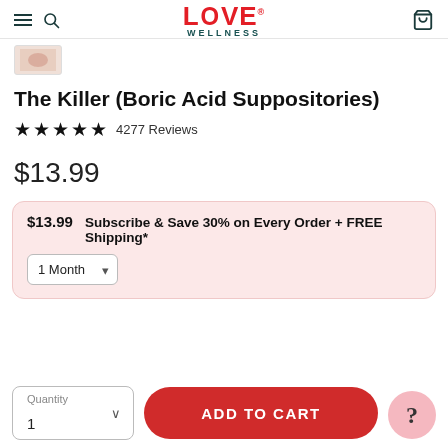LOVE WELLNESS
[Figure (photo): Small product thumbnail image partially visible]
The Killer (Boric Acid Suppositories)
★★★★★ 4277 Reviews
$13.99
$13.99 Subscribe & Save 30% on Every Order + FREE Shipping* 1 Month
Quantity 1 ADD TO CART